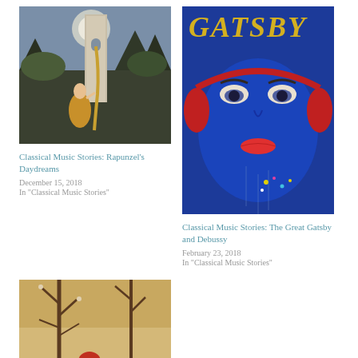[Figure (illustration): Illustration of Rapunzel in a fairy tale scene with a tall tower, moonlit sky, and a figure in colorful dress reaching upward]
Classical Music Stories: Rapunzel's Daydreams
December 15, 2018
In "Classical Music Stories"
[Figure (illustration): Book cover illustration for The Great Gatsby showing a blue face with red lips and headphones, with the word GATSBY at the top in yellow]
Classical Music Stories: The Great Gatsby and Debussy
February 23, 2018
In "Classical Music Stories"
[Figure (illustration): Illustration of Red Riding Hood in a red cloak standing next to a wolf under bare trees with a warm yellow-brown background]
Red Robin Hood: A Collection of Alternative Fairy Tales
February 16, 2019
In "Books"